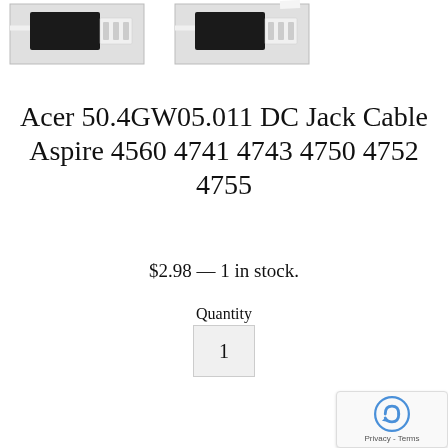[Figure (photo): Two product photos of a DC jack cable with white connector and black cable, shown from slightly different angles, displayed side by side at the top of the page.]
Acer 50.4GW05.011 DC Jack Cable Aspire 4560 4741 4743 4750 4752 4755
$2.98 — 1 in stock.
Quantity
1
[Figure (logo): reCAPTCHA badge in bottom right corner showing the reCAPTCHA icon and 'Privacy - Terms' text]